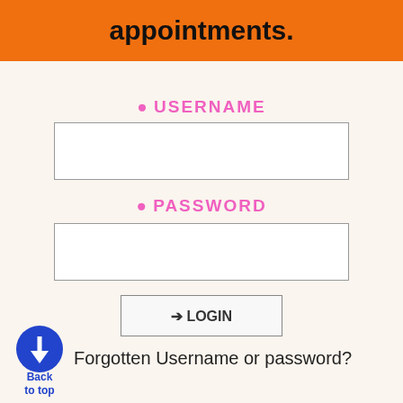appointments.
USERNAME
[Figure (screenshot): Username text input field]
PASSWORD
[Figure (screenshot): Password text input field]
LOGIN
Forgotten Username or password?
Back to top